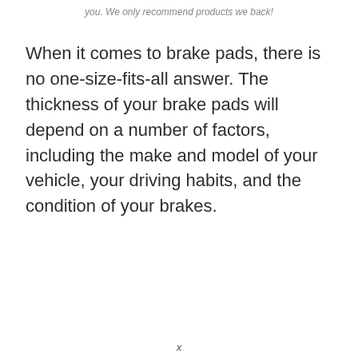you. We only recommend products we back!
When it comes to brake pads, there is no one-size-fits-all answer. The thickness of your brake pads will depend on a number of factors, including the make and model of your vehicle, your driving habits, and the condition of your brakes.
x